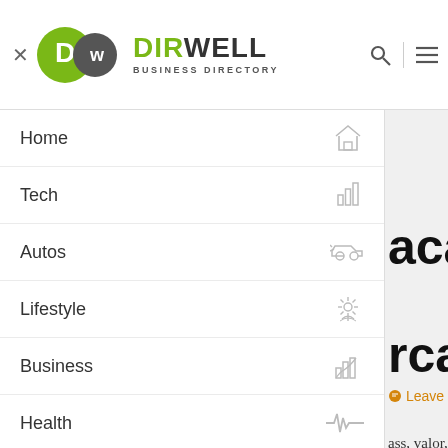[Figure (logo): Dirwell Business Directory logo with green and grey circular icons and brand name]
Home
Tech
Autos
Lifestyle
Business
Health
Info
Business Directory
acan
rcar
Leave a comment
ass, valor, and
e become weak,
nied to the point
10-4 Super